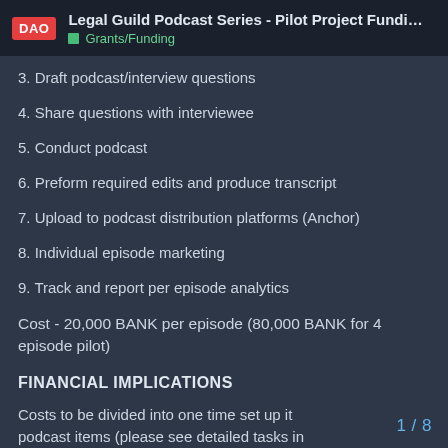Legal Guild Podcast Series - Pilot Project Funding R... | Grants/Funding
3. Draft podcast/interview questions
4. Share questions with interviewee
5. Conduct podcast
6. Preform required edits and produce transcript
7. Upload to podcast distribution platforms (Anchor)
8. Individual episode marketing
9. Track and report per episode analytics
Cost - 20,000 BANK per episode (80,000 BANK for 4 episode pilot)
FINANCIAL IMPLICATIONS
Costs to be divided into one time set up it podcast items (please see detailed tasks in above section)
1 / 8